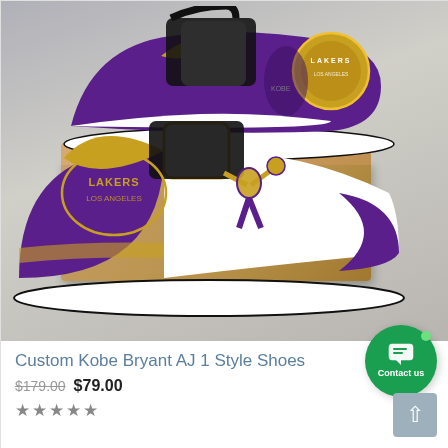[Figure (photo): Product photo of Custom Kobe Bryant AJ 1 Style Shoes — purple, gold and white custom sneakers with Lakers branding and Kobe Bryant graphics, shown on a cardboard shoe box. Two angles visible: side view of right shoe on top of box (upper right), and front-side view of left shoe in front.]
Custom Kobe Bryant AJ 1 Style Shoes
$179.00 $79.00
★★★★★